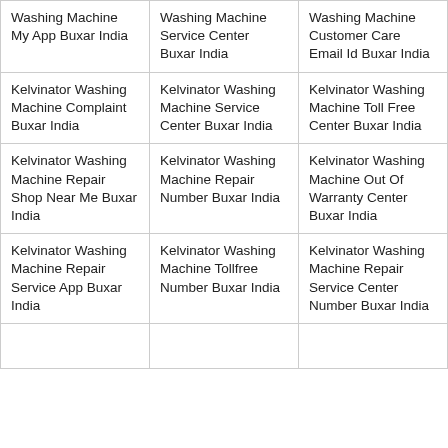| Washing Machine My App Buxar India | Washing Machine Service Center Buxar India | Washing Machine Customer Care Email Id Buxar India |
| Kelvinator Washing Machine Complaint Buxar India | Kelvinator Washing Machine Service Center Buxar India | Kelvinator Washing Machine Toll Free Center Buxar India |
| Kelvinator Washing Machine Repair Shop Near Me Buxar India | Kelvinator Washing Machine Repair Number Buxar India | Kelvinator Washing Machine Out Of Warranty Center Buxar India |
| Kelvinator Washing Machine Repair Service App Buxar India | Kelvinator Washing Machine Tollfree Number Buxar India | Kelvinator Washing Machine Repair Service Center Number Buxar India |
|  |  |  |